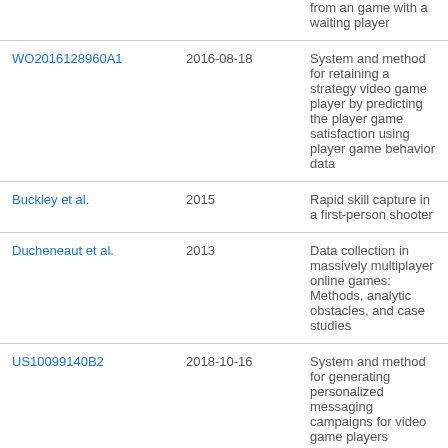| Reference | Date | Title |
| --- | --- | --- |
|  |  | from an game with a waiting player |
| WO2016128960A1 | 2016-08-18 | System and method for retaining a strategy video game player by predicting the player game satisfaction using player game behavior data |
| Buckley et al. | 2015 | Rapid skill capture in a first-person shooter |
| Ducheneaut et al. | 2013 | Data collection in massively multiplayer online games: Methods, analytic obstacles, and case studies |
| US10099140B2 | 2018-10-16 | System and method for generating personalized messaging campaigns for video game players |
| JP2007280404A | 2007-10-25 | Device for monitoring social health of |